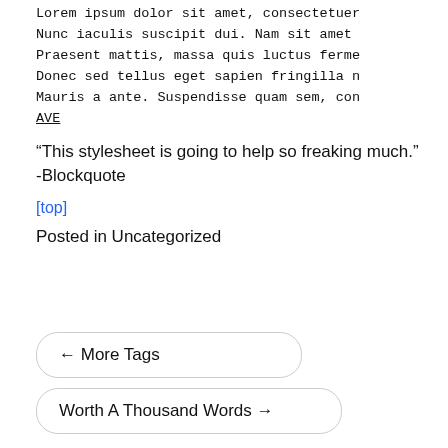Lorem ipsum dolor sit amet, consectetuer
Nunc iaculis suscipit dui. Nam sit amet
Praesent mattis, massa quis luctus ferme
Donec sed tellus eget sapien fringilla n
Mauris a ante. Suspendisse quam sem, con
AVE
“This stylesheet is going to help so freaking much.”
-Blockquote
[top]
Posted in Uncategorized
← More Tags
Worth A Thousand Words →